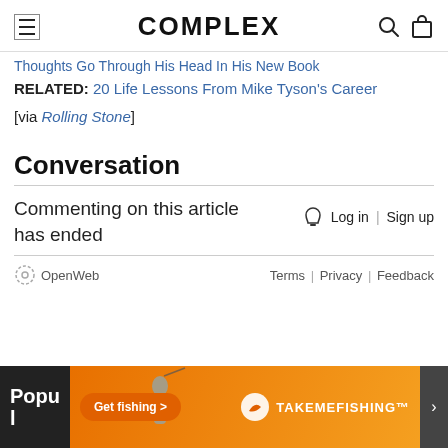COMPLEX
Thoughts Go Through His Head In His New Book
RELATED: 20 Life Lessons From Mike Tyson's Career
[via Rolling Stone]
Conversation
Commenting on this article has ended
Log in | Sign up
OpenWeb   Terms | Privacy | Feedback
[Figure (advertisement): Get fishing advertisement banner with TAKEMEFISHING brand logo and a woman fishing image on orange background]